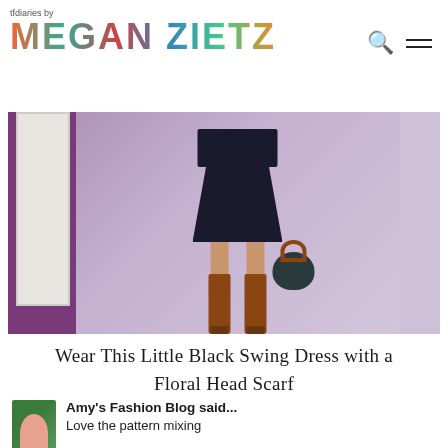tfdiaries by MEGAN ZIETZ
[Figure (photo): Fashion blog photo showing lower half of a person wearing a black swing dress, tall brown suede over-the-knee boots, and carrying a dark woven bag, posed in front of a lavender/purple brick wall with a white door frame on the left.]
Wear This Little Black Swing Dress with a Floral Head Scarf
Amy's Fashion Blog said...
Love the pattern mixing